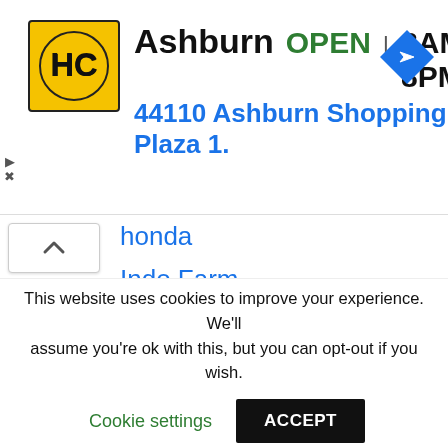[Figure (infographic): Honda Cars ad banner showing logo, Ashburn location label with OPEN status, hours 8AM-8PM, address 44110 Ashburn Shopping Plaza 1., and a navigation icon]
honda (partially visible, collapsed)
Indo Farm
John Deere
Kawasaki
Kioti
kubota
Lawn Tractor
Mahindra (partially visible)
This website uses cookies to improve your experience. We'll assume you're ok with this, but you can opt-out if you wish.
Cookie settings  ACCEPT